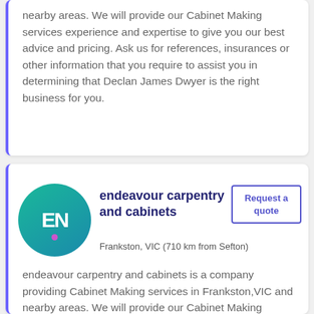nearby areas. We will provide our Cabinet Making services experience and expertise to give you our best advice and pricing. Ask us for references, insurances or other information that you require to assist you in determining that Declan James Dwyer is the right business for you.
[Figure (logo): Circular logo with teal-to-blue gradient background, white bold text 'EN.' with a pink/purple dot]
endeavour carpentry and cabinets
Frankston, VIC (710 km from Sefton)
Request a quote
endeavour carpentry and cabinets is a company providing Cabinet Making services in Frankston,VIC and nearby areas. We will provide our Cabinet Making services